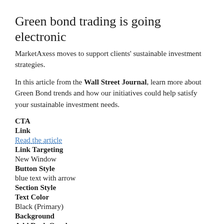Green bond trading is going electronic
MarketAxess moves to support clients' sustainable investment strategies.
In this article from the Wall Street Journal, learn more about Green Bond trends and how our initiatives could help satisfy your sustainable investment needs.
CTA
Link
Read the article
Link Targeting
New Window
Button Style
blue text with arrow
Section Style
Text Color
Black (Primary)
Background
Add Dark Overlay